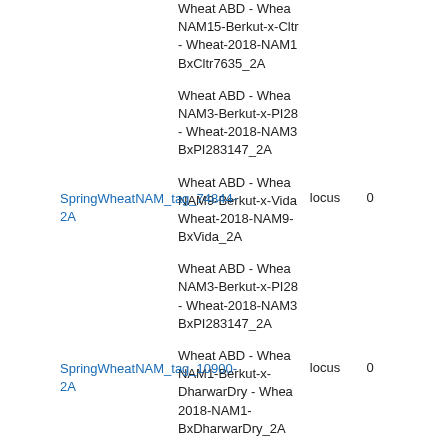SpringWheatNAM_tag_74844-2A
locus
0
Wheat ABD - Wheat NAM15-Berkut-x-Cltr7635 - Wheat-2018-NAM15-BxCltr7635_2A
Wheat ABD - Wheat NAM3-Berkut-x-PI283147 - Wheat-2018-NAM3-BxPI283147_2A
Wheat ABD - Wheat NAM9-Berkut-x-Vida - Wheat-2018-NAM9-BxVida_2A
Wheat ABD - Wheat NAM3-Berkut-x-PI283147 - Wheat-2018-NAM3-BxPI283147_2A
Wheat ABD - Wheat NAM1-Berkut-x-DharwarDry - Wheat-2018-NAM1-BxDharwarDry_2A
Wheat ABD - Wheat NAM27-Berkut-x-PI192569 - Wheat-2018-NAM27-BxPI192569_2A
SpringWheatNAM_tag_10900-2A
locus
0
Wheat ABD - Wheat...